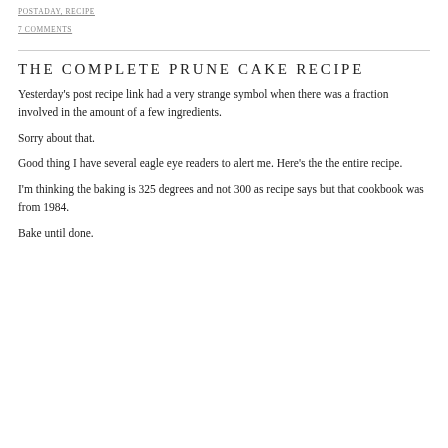POSTADAY, RECIPE
7 COMMENTS
THE COMPLETE PRUNE CAKE RECIPE
Yesterday's post recipe link had a very strange symbol when there was a fraction involved in the amount of a few ingredients.
Sorry about that.
Good thing I have several eagle eye readers to alert me. Here's the the entire recipe.
I'm thinking the baking is 325 degrees and not 300 as recipe says but that cookbook was from 1984.
Bake until done.